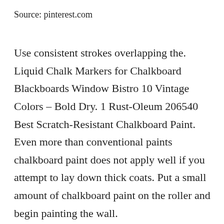Source: pinterest.com
Use consistent strokes overlapping the. Liquid Chalk Markers for Chalkboard Blackboards Window Bistro 10 Vintage Colors – Bold Dry. 1 Rust-Oleum 206540 Best Scratch-Resistant Chalkboard Paint. Even more than conventional paints chalkboard paint does not apply well if you attempt to lay down thick coats. Put a small amount of chalkboard paint on the roller and begin painting the wall.